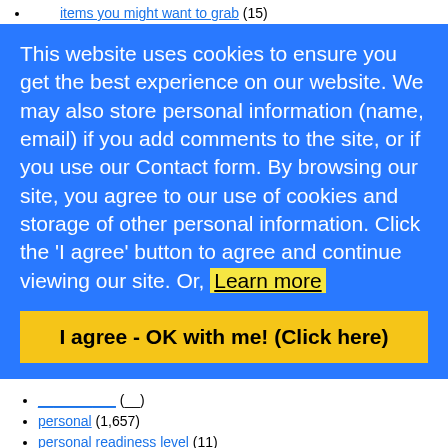items you might want to grab (15)
This website uses cookies to ensure you get the best experience on our website. We may also store personal information (name, email) if you add comments to the site, or if you use our Contact form. By browsing our site, you agree to our use of cookies and storage of other personal information. Click the 'I agree' button to agree and continue viewing our site. Or, Learn more
I agree - OK with me! (Click here)
(partial/truncated item)
personal (1,657)
personal readiness level (11)
photography (7)
physics (1)